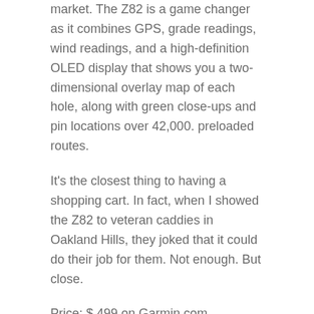market. The Z82 is a game changer as it combines GPS, grade readings, wind readings, and a high-definition OLED display that shows you a two-dimensional overlay map of each hole, along with green close-ups and pin locations over 42,000. preloaded routes.
It's the closest thing to having a shopping cart. In fact, when I showed the Z82 to veteran caddies in Oakland Hills, they joked that it could do their job for them. Not enough. But close.
Price: $ 499 on Garmin.com
[Figure (photo): Broken image placeholder for Bushnell Wingman Bluetooth Speaker and Audible GPS]
2. Bushnell Wingman loudspeaker